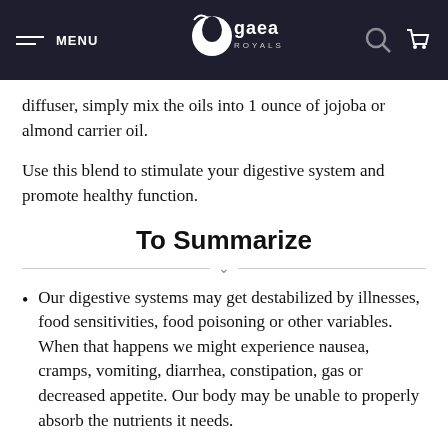MENU | gaea ROYALS
diffuser, simply mix the oils into 1 ounce of jojoba or almond carrier oil.
Use this blend to stimulate your digestive system and promote healthy function.
To Summarize
Our digestive systems may get destabilized by illnesses, food sensitivities, food poisoning or other variables. When that happens we might experience nausea, cramps, vomiting, diarrhea, constipation, gas or decreased appetite. Our body may be unable to properly absorb the nutrients it needs.
Essential oils possess properties that help our digestive system. They may aid in healthy appetite...